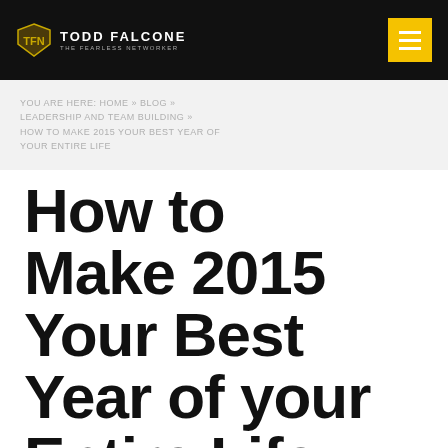Todd Falcone - The Fearless Networker
YOU ARE HERE: HOME » BLOG » LEADERSHIP AND TEAM BUILDING » HOW TO MAKE 2015 YOUR BEST YEAR OF YOUR ENTIRE LIFE
How to Make 2015 Your Best Year of your Entire Life